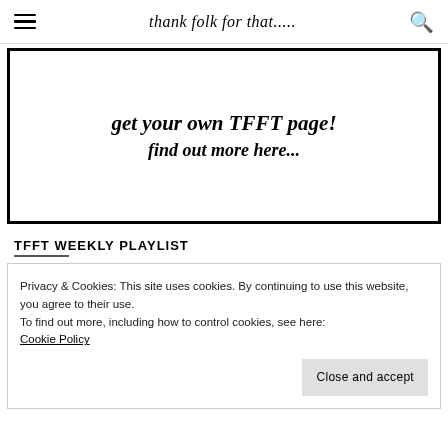thank folk for that.....
[Figure (illustration): Handwritten script text reading 'get your own TFFT page! find out more here...' inside a black border box]
TFFT WEEKLY PLAYLIST
Privacy & Cookies: This site uses cookies. By continuing to use this website, you agree to their use.
To find out more, including how to control cookies, see here:
Cookie Policy
Close and accept